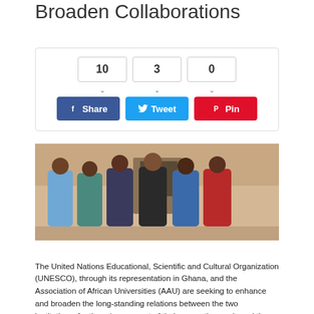Broaden Collaborations
[Figure (infographic): Social sharing widget with share counts (10, 3, 0) and buttons for Facebook Share, Tweet, and Pin]
[Figure (photo): Group photo of six people standing in front of a building. Three men on left in African attire and suit, one man in black in center, two men on right in patterned shirts.]
The United Nations Educational, Scientific and Cultural Organization (UNESCO), through its representation in Ghana, and the Association of African Universities (AAU) are seeking to enhance and broaden the long-standing relations between the two institutions, for the advancement of their respective goals and the development of Africa.